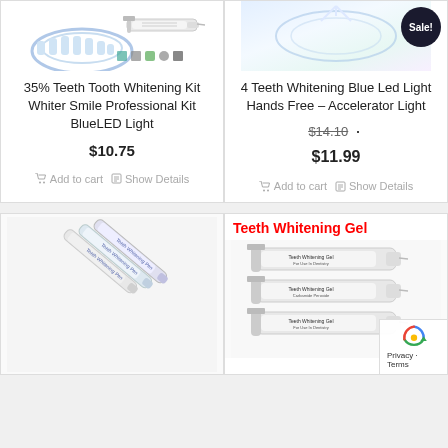[Figure (photo): Product image of 35% Teeth Whitening Kit with tray and syringe]
[Figure (photo): Product image of 4 Teeth Whitening Blue Led Light with Sale badge]
35% Teeth Tooth Whitening Kit Whiter Smile Professional Kit BlueLED Light
$10.75
Add to cart   Show Details
4 Teeth Whitening Blue Led Light Hands Free – Accelerator Light
$14.10  $11.99
Add to cart   Show Details
[Figure (photo): Teeth whitening pens product image]
[Figure (photo): Teeth Whitening Gel syringes with red text label]